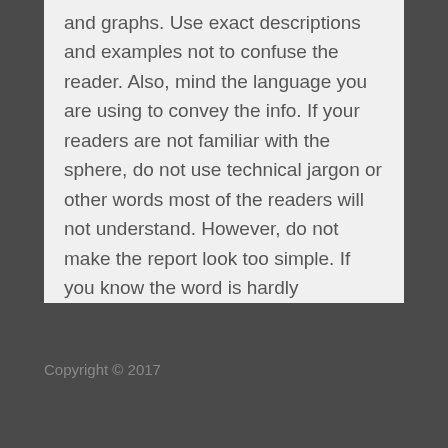and graphs. Use exact descriptions and examples not to confuse the reader. Also, mind the language you are using to convey the info. If your readers are not familiar with the sphere, do not use technical jargon or other words most of the readers will not understand. However, do not make the report look too simple. If you know the word is hardly comprehensible, and there is no way to replace it, then leave it, but remember to provide definitions or explanations.
Copyright © 2017